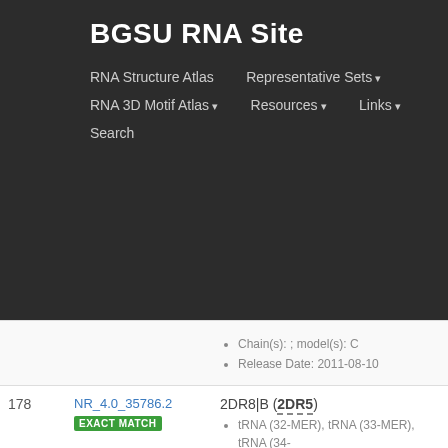BGSU RNA Site
RNA Structure Atlas | Representative Sets ▾ | RNA 3D Motif Atlas ▾ | Resources ▾ | Links ▾ | Search
| # | Equivalence Class | Representative |
| --- | --- | --- |
|  |  | Chain(s): ; model(s): C
Release Date: 2011-08-10 |
| 178 | NR_4.0_35786.2 EXACT MATCH | 2DR8|B (2DR5)
tRNA (32-MER), tRNA (33-MER), tRNA (34-...
X-RAY DIFFRACTION
Chain(s): ; model(s): B
Release Date: 2006-10-31 |
| 179 | NR_4.0_09919.1 EXACT MATCH | 2B63|R (2B63)
31-MER
X-RAY DIFFRACTION
Chain(s): ; model(s): R
Release Date: 2005-12-06 |